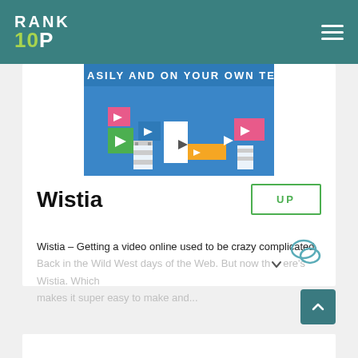[Figure (logo): Rank 10P logo in white and green on teal navbar]
[Figure (screenshot): Wistia video thumbnail showing colorful blocks with play buttons and text 'ASILY AND ON YOUR OWN TERM']
Wistia
UP
Wistia – Getting a video online used to be crazy complicated. Back in the Wild West days of the Web. But now there's Wistia. Which makes it super easy to make and...
[Figure (illustration): Comment/chat bubble icon]